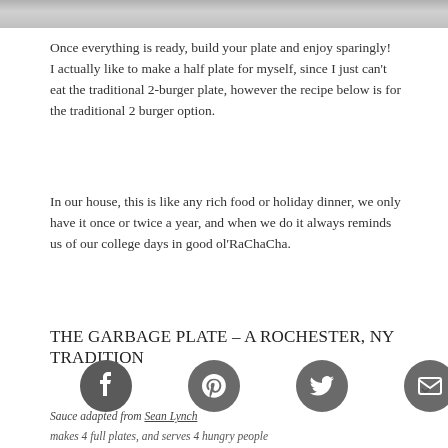[Figure (photo): Top strip of a photo, appears to be food-related, partially cropped]
Once everything is ready, build your plate and enjoy sparingly!  I actually like to make a half plate for myself, since I just can't eat the traditional 2-burger plate, however the recipe below is for the traditional 2 burger option.
In our house, this is like any rich food or holiday dinner, we only have it once or twice a year, and when we do it always reminds us of our college days in good ol'RaChaCha.
THE GARBAGE PLATE – A ROCHESTER, NY TRADITION
Sauce adapted from Sean Lynch
makes 4 full plates, and serves 4 hungry people